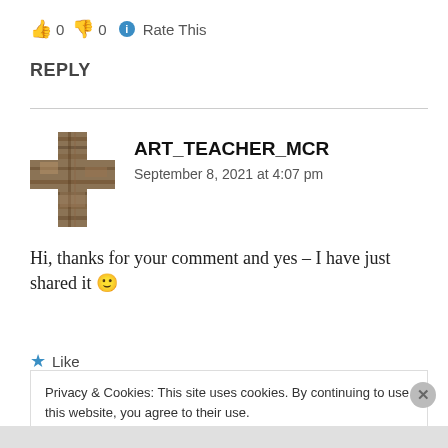👍 0 👎 0 ℹ Rate This
REPLY
[Figure (illustration): Cross-shaped avatar image made of wood/bark texture for user ART_TEACHER_MCR]
ART_TEACHER_MCR
September 8, 2021 at 4:07 pm
Hi, thanks for your comment and yes – I have just shared it 🙂
★ Like
Privacy & Cookies: This site uses cookies. By continuing to use this website, you agree to their use.
To find out more, including how to control cookies, see here: Cookie Policy